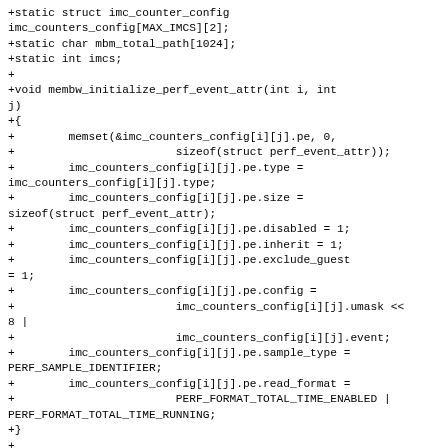+static struct imc_counter_config imc_counters_config[MAX_IMCS][2];
+static char mbm_total_path[1024];
+static int imcs;
+
+void membw_initialize_perf_event_attr(int i, int j)
+{
+        memset(&imc_counters_config[i][j].pe, 0,
+                        sizeof(struct perf_event_attr));
+        imc_counters_config[i][j].pe.type = imc_counters_config[i][j].type;
+        imc_counters_config[i][j].pe.size = sizeof(struct perf_event_attr);
+        imc_counters_config[i][j].pe.disabled = 1;
+        imc_counters_config[i][j].pe.inherit = 1;
+        imc_counters_config[i][j].pe.exclude_guest = 1;
+        imc_counters_config[i][j].pe.config =
+                        imc_counters_config[i][j].umask << 8 |
+                        imc_counters_config[i][j].event;
+        imc_counters_config[i][j].pe.sample_type = PERF_SAMPLE_IDENTIFIER;
+        imc_counters_config[i][j].pe.read_format =
+                        PERF_FORMAT_TOTAL_TIME_ENABLED | PERF_FORMAT_TOTAL_TIME_RUNNING;
+}
+
+static int open_perf_event(int i, int cpu_no, int j)